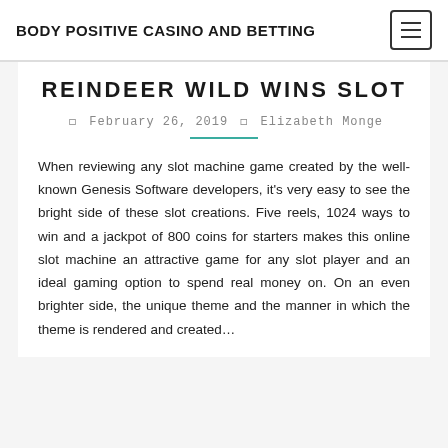BODY POSITIVE CASINO AND BETTING
REINDEER WILD WINS SLOT
February 26, 2019 | Elizabeth Monge
When reviewing any slot machine game created by the well-known Genesis Software developers, it's very easy to see the bright side of these slot creations. Five reels, 1024 ways to win and a jackpot of 800 coins for starters makes this online slot machine an attractive game for any slot player and an ideal gaming option to spend real money on. On an even brighter side, the unique theme and the manner in which the theme is rendered and created…